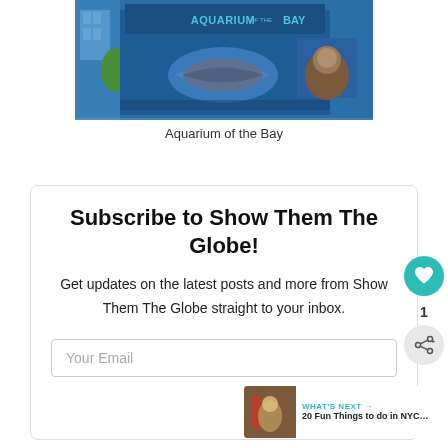[Figure (photo): Photo of the Aquarium of the Bay building exterior with blue facade and murals of marine animals including a shark and sea otter]
Aquarium of the Bay
Subscribe to Show Them The Globe!
Get updates on the latest posts and more from Show Them The Globe straight to your inbox.
Your Email